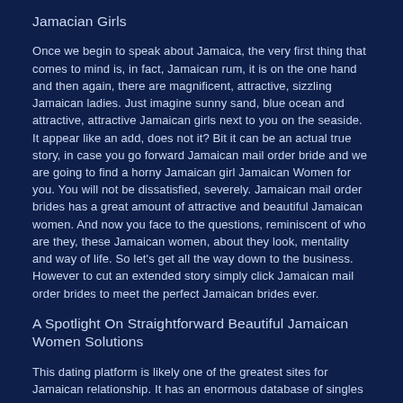Jamacian Girls
Once we begin to speak about Jamaica, the very first thing that comes to mind is, in fact, Jamaican rum, it is on the one hand and then again, there are magnificent, attractive, sizzling Jamaican ladies. Just imagine sunny sand, blue ocean and attractive, attractive Jamaican girls next to you on the seaside. It appear like an add, does not it? Bit it can be an actual true story, in case you go forward Jamaican mail order bride and we are going to find a horny Jamaican girl Jamaican Women for you. You will not be dissatisfied, severely. Jamaican mail order brides has a great amount of attractive and beautiful Jamaican women. And now you face to the questions, reminiscent of who are they, these Jamaican women, about they look, mentality and way of life. So let's get all the way down to the business. However to cut an extended story simply click Jamaican mail order brides to meet the perfect Jamaican brides ever.
A Spotlight On Straightforward Beautiful Jamaican Women Solutions
This dating platform is likely one of the greatest sites for Jamaican relationship. It has an enormous database of singles including thousands of Jamaican. The diversity of...